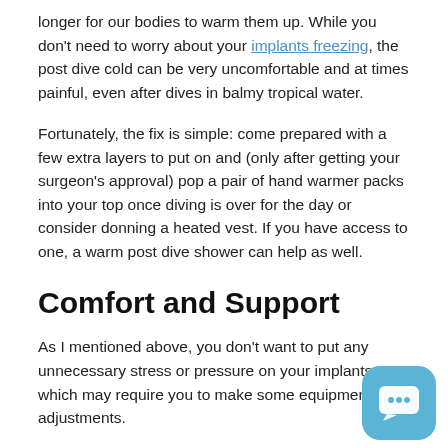longer for our bodies to warm them up. While you don't need to worry about your implants freezing, the post dive cold can be very uncomfortable and at times painful, even after dives in balmy tropical water.
Fortunately, the fix is simple: come prepared with a few extra layers to put on and (only after getting your surgeon's approval) pop a pair of hand warmer packs into your top once diving is over for the day or consider donning a heated vest. If you have access to one, a warm post dive shower can help as well.
Comfort and Support
As I mentioned above, you don't want to put any unnecessary stress or pressure on your implants, which may require you to make some equipment adjustments.
From my experience, the most important equipment adjustment was support, so I gave all my cute string b... tops away to a friend and started experimenting with